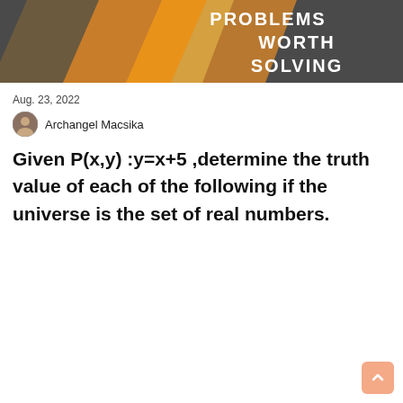[Figure (illustration): Header banner with diagonal orange/gold stripes on a dark gray background, with white bold text reading 'PROBLEMS WORTH SOLVING' on the right side]
Aug. 23, 2022
Archangel Macsika
Given P(x,y) :y=x+5 ,determine the truth value of each of the following if the universe is the set of real numbers.